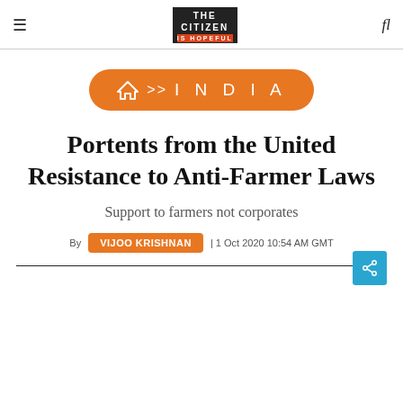THE CITIZEN IS HOPEFUL
[Figure (infographic): Orange rounded badge with home icon, >> arrows, and INDIA text in large spaced letters]
Portents from the United Resistance to Anti-Farmer Laws
Support to farmers not corporates
By VIJOO KRISHNAN | 1 Oct 2020 10:54 AM GMT